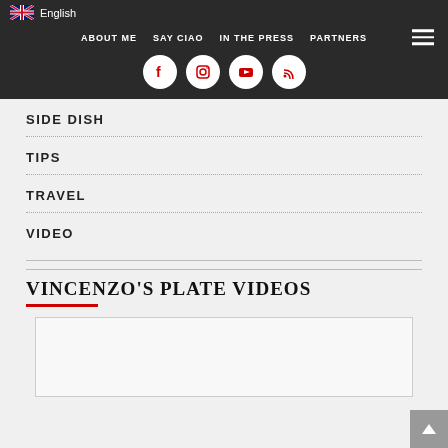English
ABOUT ME   SAY CIAO   IN THE PRESS   PARTNERS
SIDE DISH
TIPS
TRAVEL
VIDEO
VINCENZO'S PLATE VIDEOS
[Figure (other): Embedded video player placeholder box]